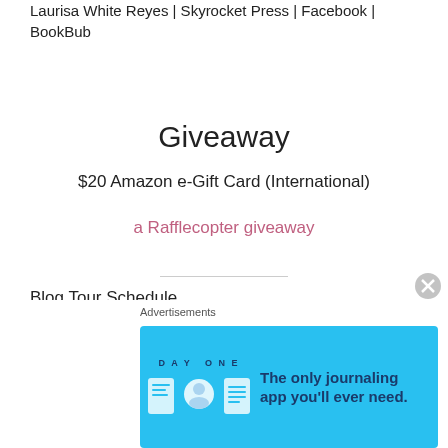Laurisa White Reyes | Skyrocket Press | Facebook | BookBub
Giveaway
$20 Amazon e-Gift Card (International)
a Rafflecopter giveaway
Blog Tour Schedule
September 6th
Reads & Reels (Spotlight) http://readsandreels.com
Nesie's Place (Spotlight)
Advertisements
[Figure (other): Day One journaling app advertisement banner with blue background and app icons]